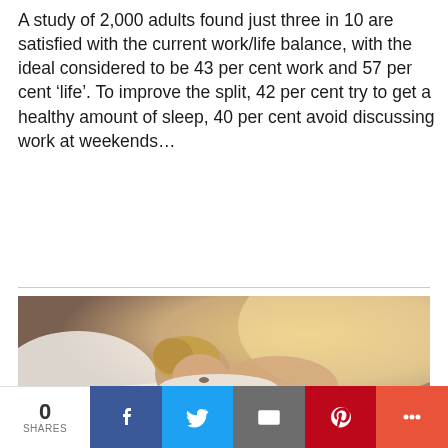A study of 2,000 adults found just three in 10 are satisfied with the current work/life balance, with the ideal considered to be 43 per cent work and 57 per cent ‘life’. To improve the split, 42 per cent try to get a healthy amount of sleep, 40 per cent avoid discussing work at weekends…
[Figure (photo): A person lying in bed sleeping, head resting on white pillow, warm light in background]
We use cookies on our website to give you the most relevant
Privacy & Cookies: This site uses cookies. By continuing to use this website, you agree to their use.
To find out more, including how to control cookies, see here: Cookie Policy
0 SHARES | Facebook | Twitter | Email | Pinterest | More